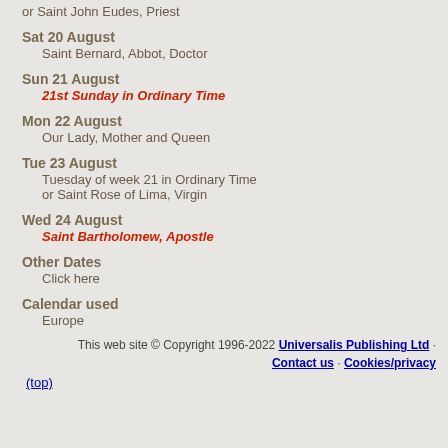or Saint John Eudes, Priest
Sat 20 August
Saint Bernard, Abbot, Doctor
Sun 21 August
21st Sunday in Ordinary Time
Mon 22 August
Our Lady, Mother and Queen
Tue 23 August
Tuesday of week 21 in Ordinary Time
or Saint Rose of Lima, Virgin
Wed 24 August
Saint Bartholomew, Apostle
Other Dates
Click here
Calendar used
Europe
This web site © Copyright 1996-2022 Universalis Publishing Ltd · Contact us · Cookies/privacy
(top)